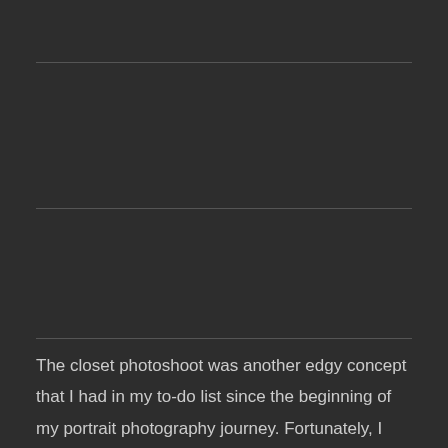The closet photoshoot was another edgy concept that I had in my to-do list since the beginning of my portrait photography journey. Fortunately, I was in luck after so many years.